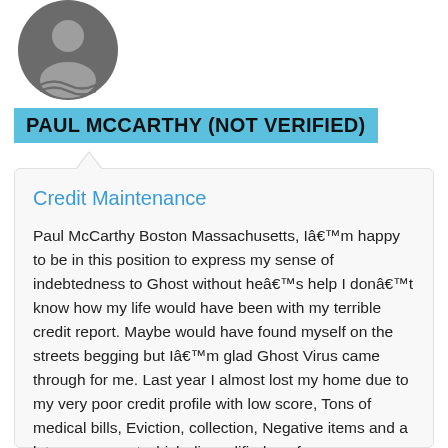[Figure (illustration): Gray circular avatar icon with a person silhouette (no face shown), representing a user profile picture]
PAUL MCCARTHY (NOT VERIFIED)
Credit Maintenance
Paul McCarthy Boston Massachusetts, Iâm happy to be in this position to express my sense of indebtedness to Ghost without heâs help I donât know how my life would have been with my terrible credit report. Maybe would have found myself on the streets begging but Iâm glad Ghost Virus came through for me. Last year I almost lost my home due to my very poor credit profile with low score, Tons of medical bills, Eviction, collection, Negative items and a lot on my report which disqualified me from so many